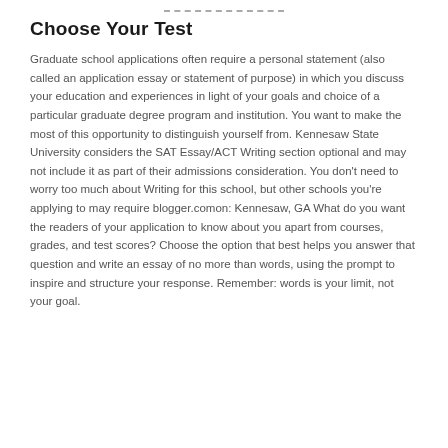Choose Your Test
Graduate school applications often require a personal statement (also called an application essay or statement of purpose) in which you discuss your education and experiences in light of your goals and choice of a particular graduate degree program and institution. You want to make the most of this opportunity to distinguish yourself from. Kennesaw State University considers the SAT Essay/ACT Writing section optional and may not include it as part of their admissions consideration. You don't need to worry too much about Writing for this school, but other schools you're applying to may require blogger.comon: Kennesaw, GA What do you want the readers of your application to know about you apart from courses, grades, and test scores? Choose the option that best helps you answer that question and write an essay of no more than words, using the prompt to inspire and structure your response. Remember: words is your limit, not your goal.